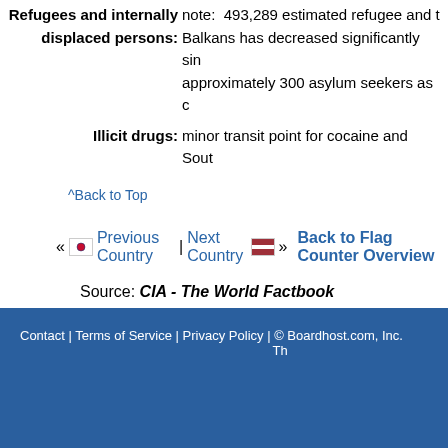Refugees and internally displaced persons: note: 493,289 estimated refugee and Balkans has decreased significantly since approximately 300 asylum seekers as c
Illicit drugs: minor transit point for cocaine and Sout
^Back to Top
« [flag] Previous Country | Next Country [flag] » Back to Flag Counter Overview
Source: CIA - The World Factbook
Contact | Terms of Service | Privacy Policy | © Boardhost.com, Inc. Th